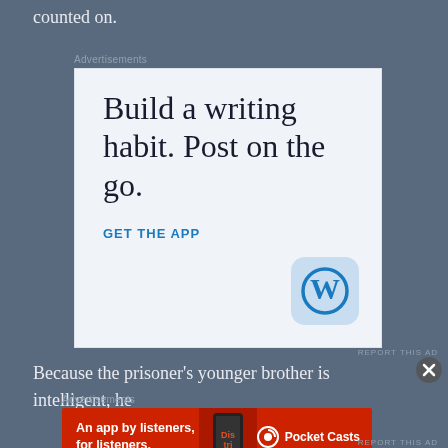counted on.
Advertisements
[Figure (illustration): WordPress app advertisement: 'Build a writing habit. Post on the go.' with GET THE APP call to action and WordPress logo icon]
REPORT THIS AD
Because the prisoner's younger brother is intelligent, he
Advertisements
[Figure (illustration): Pocket Casts app advertisement: 'An app by listeners, for listeners.' with phone image and Pocket Casts logo]
REPORT THIS AD